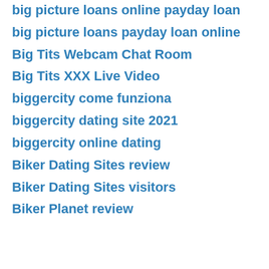big picture loans online payday loan
big picture loans payday loan online
Big Tits Webcam Chat Room
Big Tits XXX Live Video
biggercity come funziona
biggercity dating site 2021
biggercity online dating
Biker Dating Sites review
Biker Dating Sites visitors
Biker Planet review